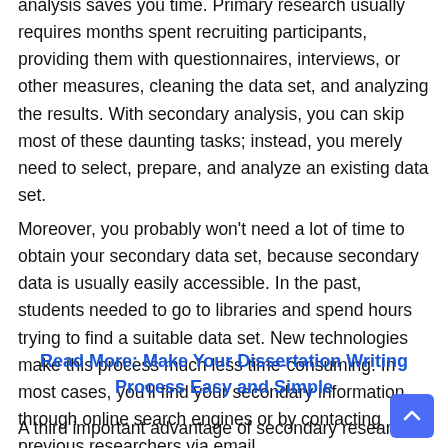analysis saves you time. Primary research usually requires months spent recruiting participants, providing them with questionnaires, interviews, or other measures, cleaning the data set, and analyzing the results. With secondary analysis, you can skip most of these daunting tasks; instead, you merely need to select, prepare, and analyze an existing data set.
Moreover, you probably won't need a lot of time to obtain your secondary data set, because secondary data is usually easily accessible. In the past, students needed to go to libraries and spend hours trying to find a suitable data set. New technologies make this process much less time-consuming. In most cases, you'll find your secondary information through online search engines or by contacting previous researchers via email.
Read More: Make Your Dissertation Writing Process Easy and Simple
A third important advantage of secondary research is that you